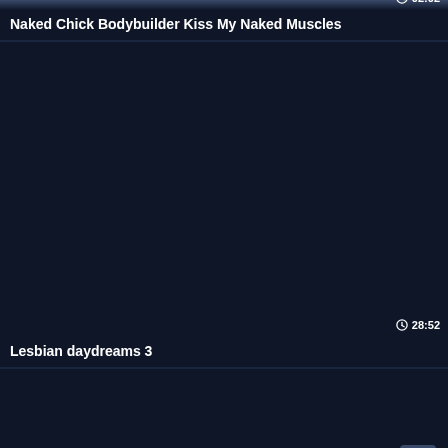[Figure (screenshot): Video thumbnail (cropped top, dark background with partial image visible)]
02:02
Naked Chick Bodybuilder Kiss My Naked Muscles
[Figure (screenshot): Video thumbnail (dark/blank placeholder)]
28:52
Lesbian daydreams 3
[Figure (screenshot): Video thumbnail (dark/blank placeholder, partially visible at bottom)]